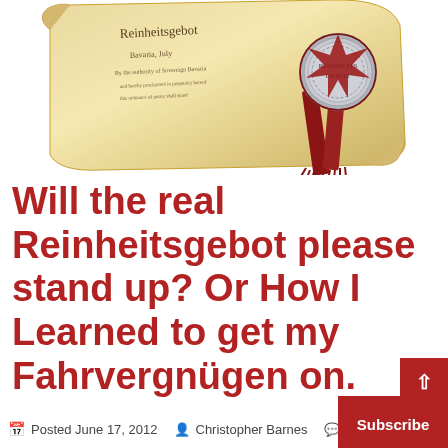[Figure (illustration): A parchment scroll/certificate with handwritten text and a silver medallion with red ribbon rosette hanging from it, on white background.]
Will the real Reinheitsgebot please stand up? Or How I Learned to get my Fahrvergnügen on.
Posted June 17, 2012   Christopher Barnes   1 Com...